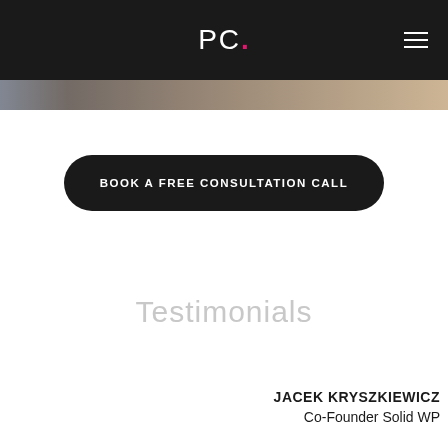PC.
[Figure (photo): Partial image strip at top of page showing a brownish/warm toned landscape or background photo]
BOOK A FREE CONSULTATION CALL
Testimonials
JACEK KRYSZKIEWICZ
Co-Founder Solid WP